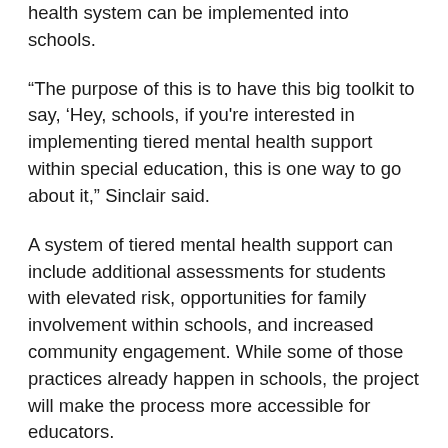health system can be implemented into schools.
“The purpose of this is to have this big toolkit to say, ‘Hey, schools, if you're interested in implementing tiered mental health support within special education, this is one way to go about it,” Sinclair said.
A system of tiered mental health support can include additional assessments for students with elevated risk, opportunities for family involvement within schools, and increased community engagement. While some of those practices already happen in schools, the project will make the process more accessible for educators.
The project also emphasizes that the mental health support system will be created based on the needs and experiences of students.
“This is really, really important. We’re trying to build this